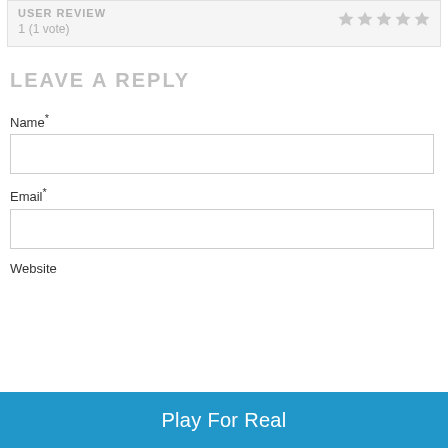USER REVIEW
1 (1 vote)
LEAVE A REPLY
Name*
Email*
Website
Play For Real